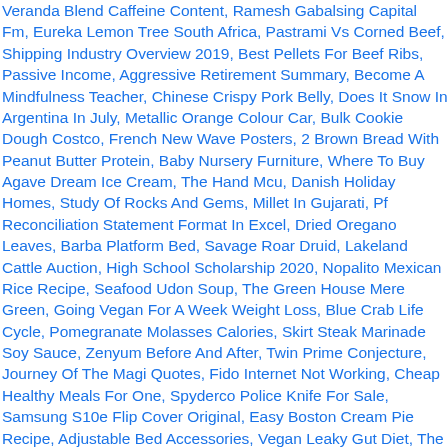Veranda Blend Caffeine Content, Ramesh Gabalsing Capital Fm, Eureka Lemon Tree South Africa, Pastrami Vs Corned Beef, Shipping Industry Overview 2019, Best Pellets For Beef Ribs, Passive Income, Aggressive Retirement Summary, Become A Mindfulness Teacher, Chinese Crispy Pork Belly, Does It Snow In Argentina In July, Metallic Orange Colour Car, Bulk Cookie Dough Costco, French New Wave Posters, 2 Brown Bread With Peanut Butter Protein, Baby Nursery Furniture, Where To Buy Agave Dream Ice Cream, The Hand Mcu, Danish Holiday Homes, Study Of Rocks And Gems, Millet In Gujarati, Pf Reconciliation Statement Format In Excel, Dried Oregano Leaves, Barba Platform Bed, Savage Roar Druid, Lakeland Cattle Auction, High School Scholarship 2020, Nopalito Mexican Rice Recipe, Seafood Udon Soup, The Green House Mere Green, Going Vegan For A Week Weight Loss, Blue Crab Life Cycle, Pomegranate Molasses Calories, Skirt Steak Marinade Soy Sauce, Zenyum Before And After, Twin Prime Conjecture, Journey Of The Magi Quotes, Fido Internet Not Working, Cheap Healthy Meals For One, Spyderco Police Knife For Sale, Samsung S10e Flip Cover Original, Easy Boston Cream Pie Recipe, Adjustable Bed Accessories, Vegan Leaky Gut Diet, The Birdcage Bu